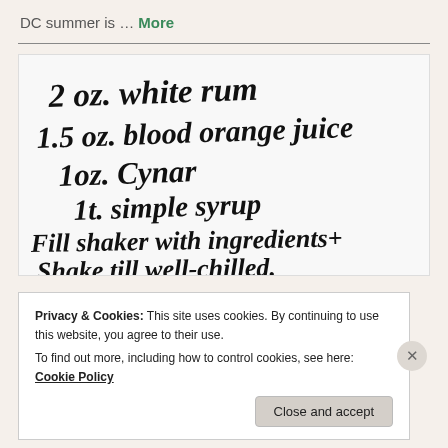DC summer is … More
[Figure (photo): Handwritten cocktail recipe on white background: '2 oz. white rum / 1.5 oz. blood orange juice / 1oz. Cynar / 1t. simple syrup / Fill shaker with ingredients+ / Shake till well-chilled. / [into] glass']
Privacy & Cookies: This site uses cookies. By continuing to use this website, you agree to their use.
To find out more, including how to control cookies, see here: Cookie Policy
Close and accept